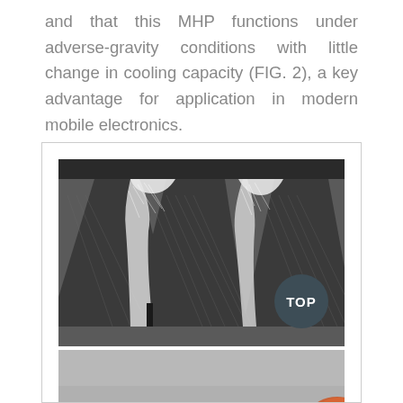and that this MHP functions under adverse-gravity conditions with little change in cooling capacity (FIG. 2), a key advantage for application in modern mobile electronics.
[Figure (photo): SEM cross-section image of micro heat pipe fin structures showing tapered fins with wicking liquid between them, labeled TOP at bottom right.]
[Figure (photo): Partial view of a second photograph below the SEM image, showing a reddish-orange object against a grey background.]